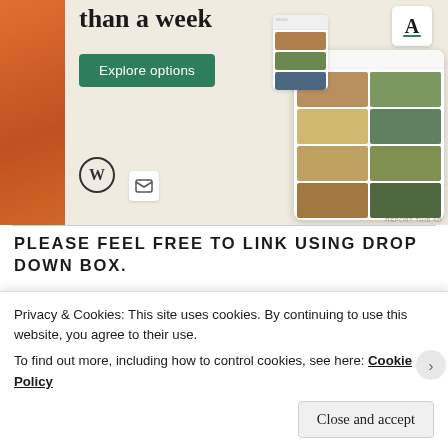[Figure (screenshot): WordPress.com advertisement showing app screenshots with food images and an 'Explore options' button on a beige background. WordPress logo and another icon visible. Text reads 'than a week'.]
REPORT THIS AD
PLEASE FEEL FREE TO LINK USING DROP DOWN BOX.
Share
Like
Privacy & Cookies: This site uses cookies. By continuing to use this website, you agree to their use.
To find out more, including how to control cookies, see here: Cookie Policy
Close and accept